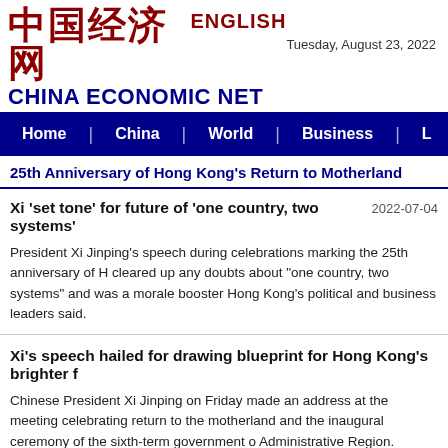中国经济网 ENGLISH — CHINA ECONOMIC NET — Tuesday, August 23, 2022
Home | China | World | Business | L
25th Anniversary of Hong Kong's Return to Motherland
Xi 'set tone' for future of 'one country, two systems'
President Xi Jinping's speech during celebrations marking the 25th anniversary of H… cleared up any doubts about "one country, two systems" and was a morale booster … Hong Kong's political and business leaders said.
Xi's speech hailed for drawing blueprint for Hong Kong's brighter f…
Chinese President Xi Jinping on Friday made an address at the meeting celebrating… return to the motherland and the inaugural ceremony of the sixth-term government o… Administrative Region.